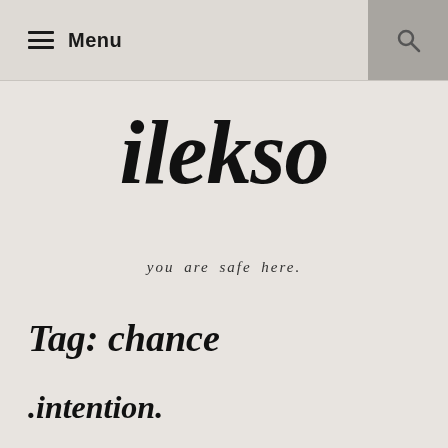Menu
ilekso
you are safe here.
Tag: chance
.intention.